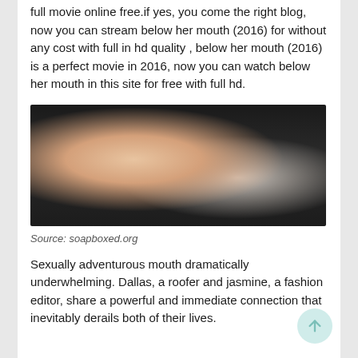full movie online free.if yes, you come the right blog, now you can stream below her mouth (2016) for without any cost with full in hd quality , below her mouth (2016) is a perfect movie in 2016, now you can watch below her mouth in this site for free with full hd.
[Figure (photo): Close-up photo of a person with short blonde hair wearing a black top, leaning forward, outdoors with blurred background.]
Source: soapboxed.org
Sexually adventurous mouth dramatically underwhelming. Dallas, a roofer and jasmine, a fashion editor, share a powerful and immediate connection that inevitably derails both of their lives.